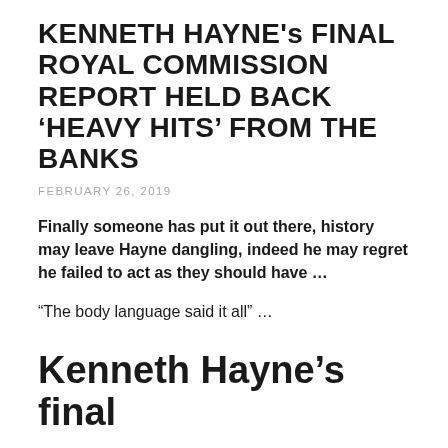KENNETH HAYNE's FINAL ROYAL COMMISSION REPORT HELD BACK ‘HEAVY HITS’ FROM THE BANKS
FEBRUARY 26, 2019
Finally someone has put it out there, history may leave Hayne dangling, indeed he may regret he failed to act as they should have …
“The body language said it all” …
Kenneth Hayne’s final